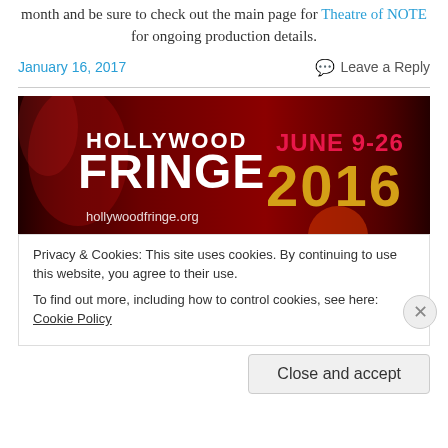month and be sure to check out the main page for Theatre of NOTE for ongoing production details.
January 16, 2017
Leave a Reply
[Figure (illustration): Hollywood Fringe Festival banner: red curtain background with bold white text 'HOLLYWOOD FRINGE', pink-to-red text 'JUNE 9-26', gold/yellow text '2016', and website 'hollywoodfringe.org']
Privacy & Cookies: This site uses cookies. By continuing to use this website, you agree to their use. To find out more, including how to control cookies, see here: Cookie Policy
Close and accept